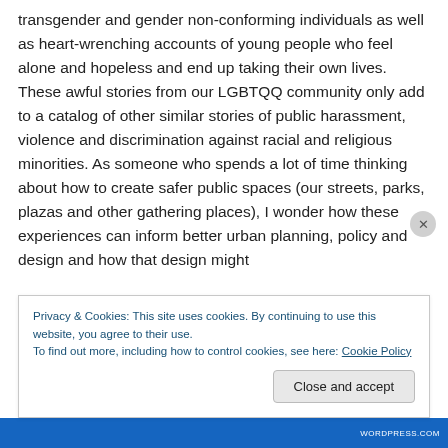transgender and gender non-conforming individuals as well as heart-wrenching accounts of young people who feel alone and hopeless and end up taking their own lives. These awful stories from our LGBTQQ community only add to a catalog of other similar stories of public harassment, violence and discrimination against racial and religious minorities. As someone who spends a lot of time thinking about how to create safer public spaces (our streets, parks, plazas and other gathering places), I wonder how these experiences can inform better urban planning, policy and design and how that design might
Privacy & Cookies: This site uses cookies. By continuing to use this website, you agree to their use.
To find out more, including how to control cookies, see here: Cookie Policy